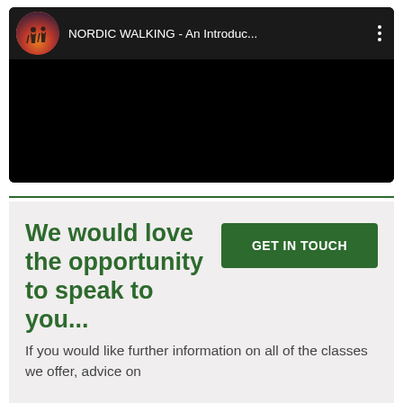[Figure (screenshot): YouTube-style video thumbnail with dark top bar showing a circular channel icon (silhouette of two people walking at sunset), channel title 'NORDIC WALKING - An Introduc...' in white text, and a three-dot menu icon. The main video area is solid black.]
We would love the opportunity to speak to you...
GET IN TOUCH
If you would like further information on all of the classes we offer, advice on